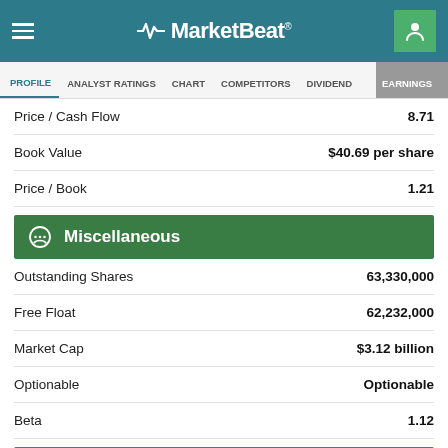MarketBeat
PROFILE | ANALYST RATINGS | CHART | COMPETITORS | DIVIDEND | EARNINGS
|  |  |
| --- | --- |
| Price / Cash Flow | 8.71 |
| Book Value | $40.69 per share |
| Price / Book | 1.21 |
Miscellaneous
|  |  |
| --- | --- |
| Outstanding Shares | 63,330,000 |
| Free Float | 62,232,000 |
| Market Cap | $3.12 billion |
| Optionable | Optionable |
| Beta | 1.12 |
Social Links